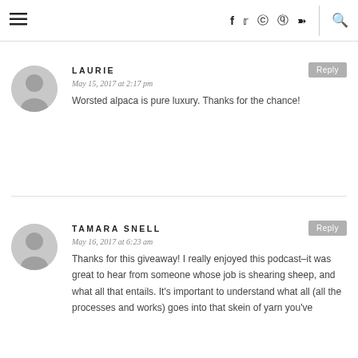☰  f  ✦  ✷  ℗  ⊃  🔍
LAURIE
May 15, 2017 at 2:17 pm
Worsted alpaca is pure luxury. Thanks for the chance!
TAMARA SNELL
May 16, 2017 at 6:23 am
Thanks for this giveaway! I really enjoyed this podcast–it was great to hear from someone whose job is shearing sheep, and what all that entails. It's important to understand what all (all the processes and works) goes into that skein of yarn you've